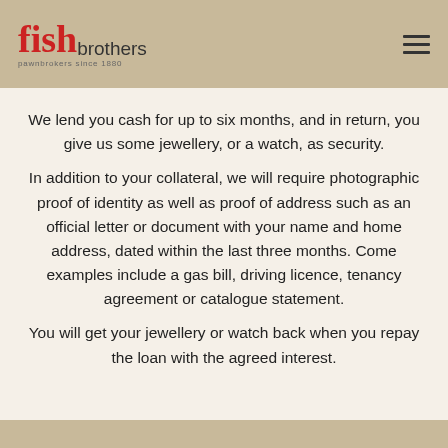fish brothers pawnbrokers since 1880
We lend you cash for up to six months, and in return, you give us some jewellery, or a watch, as security.
In addition to your collateral, we will require photographic proof of identity as well as proof of address such as an official letter or document with your name and home address, dated within the last three months. Come examples include a gas bill, driving licence, tenancy agreement or catalogue statement.
You will get your jewellery or watch back when you repay the loan with the agreed interest.